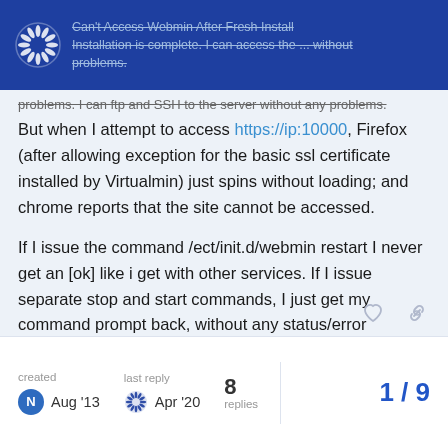Can't Access Webmin After Fresh Install — Installation is complete. I can access the ... without problems.
problems. I can ftp and SSH to the server without any problems. But when I attempt to access https://ip:10000, Firefox (after allowing exception for the basic ssl certificate installed by Virtualmin) just spins without loading; and chrome reports that the site cannot be accessed.
If I issue the command /ect/init.d/webmin restart I never get an [ok] like i get with other services. If I issue separate stop and start commands, I just get my command prompt back, without any status/error messages.
Any suggestions?
Thanks.
created Aug '13  last reply Apr '20  8 replies  1/9